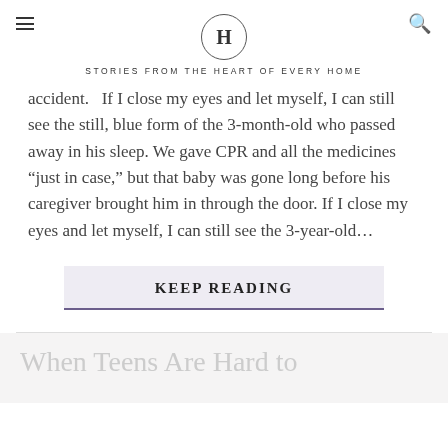H — STORIES FROM THE HEART OF EVERY HOME
accident.   If I close my eyes and let myself, I can still see the still, blue form of the 3-month-old who passed away in his sleep. We gave CPR and all the medicines “just in case,” but that baby was gone long before his caregiver brought him in through the door. If I close my eyes and let myself, I can still see the 3-year-old…
KEEP READING
When Teens Are Hard to